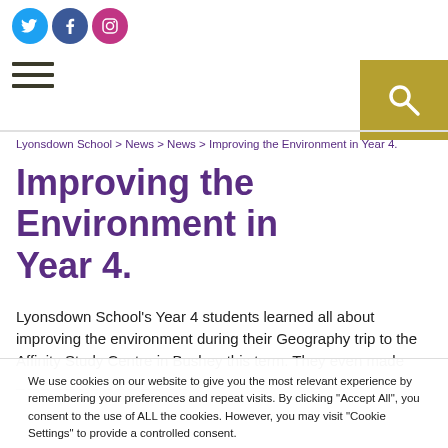[Figure (other): Social media icons (Twitter, Facebook, Instagram) in circular badges]
[Figure (other): Hamburger menu icon (three horizontal lines)]
[Figure (other): Search icon (magnifying glass) in gold/olive square button]
Lyonsdown School > News > News > Improving the Environment in Year 4.
Improving the Environment in Year 4.
Lyonsdown School's Year 4 students learned all about improving the environment during their Geography trip to the Affinity Study Centre in Bushey this term. They even made
We use cookies on our website to give you the most relevant experience by remembering your preferences and repeat visits. By clicking "Accept All", you consent to the use of ALL the cookies. However, you may visit "Cookie Settings" to provide a controlled consent.
Cookie Settings | Reject All | Accept All